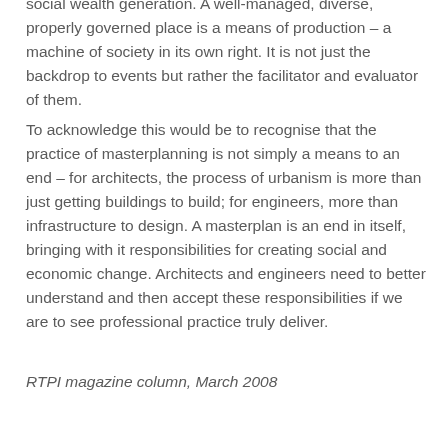social wealth generation. A well-managed, diverse, properly governed place is a means of production – a machine of society in its own right. It is not just the backdrop to events but rather the facilitator and evaluator of them.
To acknowledge this would be to recognise that the practice of masterplanning is not simply a means to an end – for architects, the process of urbanism is more than just getting buildings to build; for engineers, more than infrastructure to design. A masterplan is an end in itself, bringing with it responsibilities for creating social and economic change. Architects and engineers need to better understand and then accept these responsibilities if we are to see professional practice truly deliver.
RTPI magazine column, March 2008